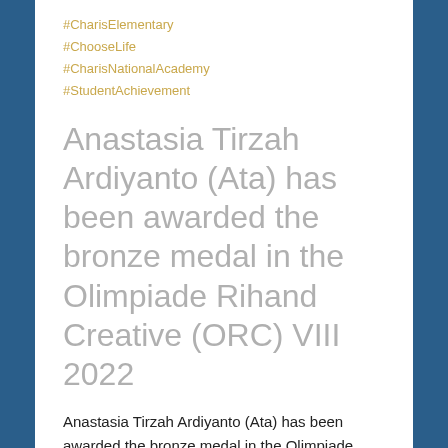#CharisElementary
#ChooseLife
#CharisNationalAcademy
#StudentAchievement
Anastasia Tirzah Ardiyanto (Ata) has been awarded the bronze medal in the Olimpiade Rihand Creative (ORC) VIII 2022
Anastasia Tirzah Ardiyanto (Ata) has been awarded the bronze medal in the Olimpiade Rihand Creative (ORC) VIII 2022, which is a national-level competition with participants from elementary through to senior high school levels. This online competition was held in Zoom on May 21-22, 2022 and was hosting contestants from over 765 students from